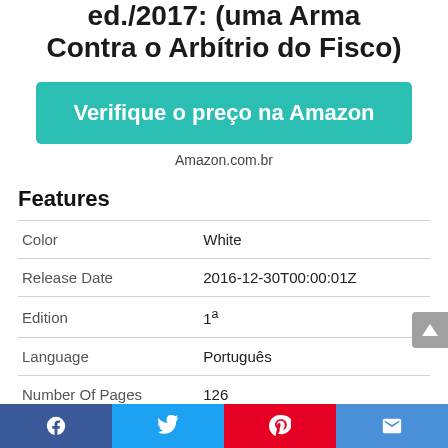ed./2017: (uma Arma Contra o Arbítrio do Fisco)
Verifique o preço na Amazon
Amazon.com.br
Features
| Feature | Value |
| --- | --- |
| Color | White |
| Release Date | 2016-12-30T00:00:01Z |
| Edition | 1ª |
| Language | Português |
| Number Of Pages | 126 |
| Publication Date | 2017-01-01T00:00:01Z |